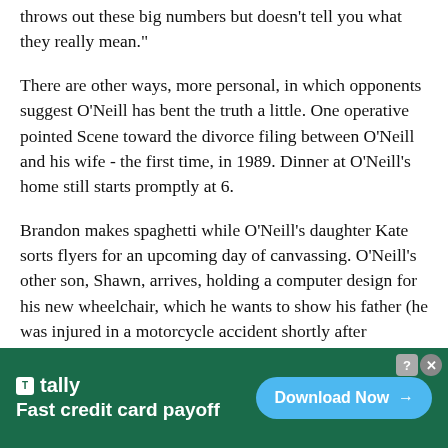throws out these big numbers but doesn't tell you what they really mean."
There are other ways, more personal, in which opponents suggest O'Neill has bent the truth a little. One operative pointed Scene toward the divorce filing between O'Neill and his wife - the first time, in 1989. Dinner at O'Neill's home still starts promptly at 6.
Brandon makes spaghetti while O'Neill's daughter Kate sorts flyers for an upcoming day of canvassing. O'Neill's other son, Shawn, arrives, holding a computer design for his new wheelchair, which he wants to show his father (he was injured in a motorcycle accident shortly after returning from his tour in the Middle East). Lucky, a short little cocker spaniel O'Neill adopted during a campaign stop, runs
[Figure (other): Advertisement banner for Tally app — green background, logo 'tally', tagline 'Fast credit card payoff', blue 'Download Now' button with arrow, close/help buttons in top-right corner.]